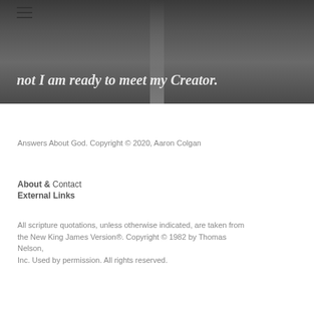[Figure (photo): Black and white photo of a road receding into the distance with text overlay]
not I am ready to meet my Creator.
Answers About God. Copyright © 2020, Aaron Colgan
About & Contact
External Links
All scripture quotations, unless otherwise indicated, are taken from the New King James Version®. Copyright © 1982 by Thomas Nelson,
Inc. Used by permission. All rights reserved.